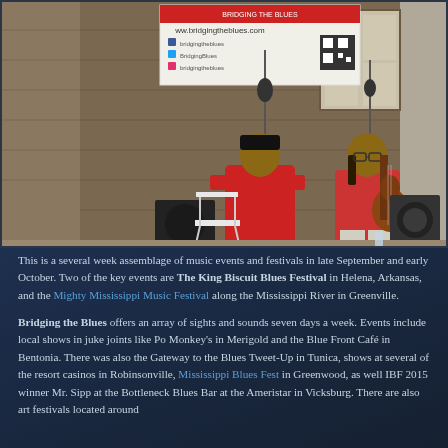[Figure (photo): Two musicians performing outdoors on a wooden porch stage. One man in a red suit sits singing into a microphone, another man in a red shirt stands playing guitar. A banner behind them reads 'www.bridgingtheblues.com' with social media handles and a QR code.]
This is a several week assemblage of music events and festivals in late September and early October. Two of the key events are The King Biscuit Blues Festival in Helena, Arkansas, and the Mighty Mississippi Music Festival along the Mississippi River in Greenville.
Bridging the Blues offers an array of sights and sounds seven days a week. Events include local shows in juke joints like Po Monkey's in Merigold and the Blue Front Café in Bentonia. There was also the Gateway to the Blues Tweet-Up in Tunica, shows at several of the resort casinos in Robinsonville, Mississippi Blues Fest in Greenwood, as well IBF 2015 winner Mr. Sipp at the Bottleneck Blues Bar at the Ameristar in Vicksburg. There are also art festivals located around